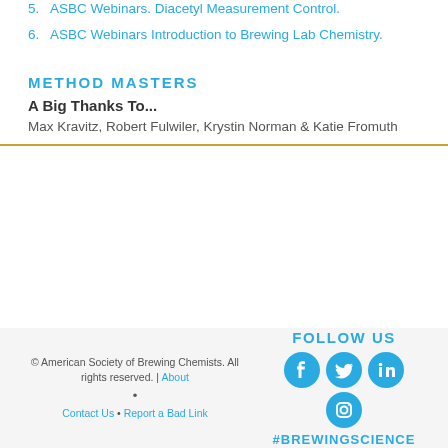5. ASBC Webinars. Diacetyl Measurement Control.
6. ASBC Webinars Introduction to Brewing Lab Chemistry.
METHOD MASTERS
A Big Thanks To...
Max Kravitz, Robert Fulwier, Krystin Norman & Katie Fromuth
© American Society of Brewing Chemists. All rights reserved. | About • Contact Us • Report a Bad Link
FOLLOW US #BREWINGSCIENCE